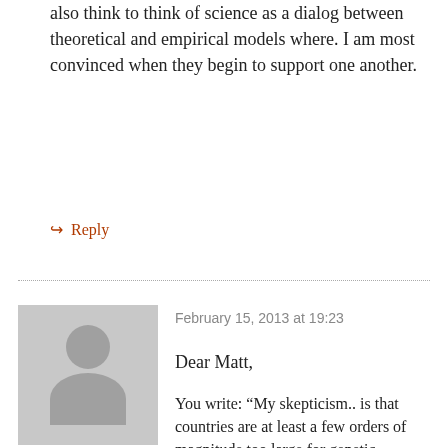also think to think of science as a dialog between theoretical and empirical models where. I am most convinced when they begin to support one another.
↳ Reply
February 15, 2013 at 19:23
[Figure (illustration): Grey avatar placeholder with silhouette of person (head and shoulders)]
e10c8308-76c2-11e2-9ab9-000bcdcb471e
Dear Matt,
You write: “My skepticism.. is that countries are at least a few orders of magnitude too large for genetic diversity to matter.” I failed to understand your skepticism.
Here is a simple example in which genetic diversity would have a major effect. Suppose that...